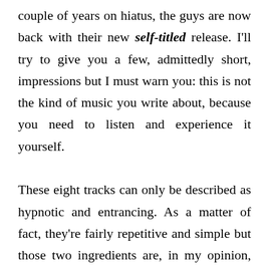couple of years on hiatus, the guys are now back with their new self-titled release. I'll try to give you a few, admittedly short, impressions but I must warn you: this is not the kind of music you write about, because you need to listen and experience it yourself.

These eight tracks can only be described as hypnotic and entrancing. As a matter of fact, they're fairly repetitive and simple but those two ingredients are, in my opinion, exactly what give this record its intensity and at times